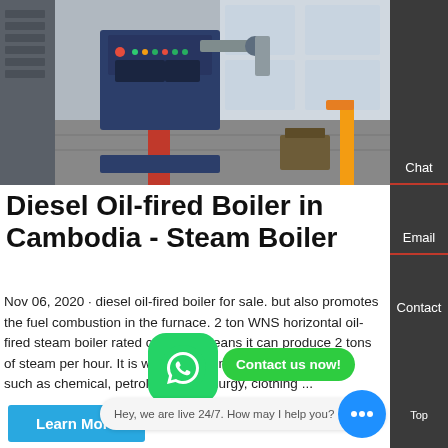[Figure (photo): Industrial factory floor showing a diesel oil-fired steam boiler machine with control panel, mounted on a red vertical pipe/stand, inside a large manufacturing facility]
Diesel Oil-fired Boiler in Cambodia - Steam Boiler
Nov 06, 2020 · diesel oil-fired boiler for sale. but also promotes the fuel combustion in the furnace. 2 ton WNS horizontal oil-fired steam boiler rated capacity, means it can produce 2 tons of steam per hour. It is widely used in industrial production, such as chemical, petroleum, metallurgy, clothing ...
Learn More